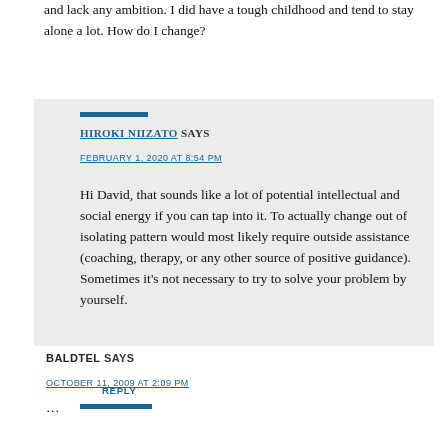and lack any ambition. I did have a tough childhood and tend to stay alone a lot. How do I change?
REPLY
HIROKI NIIZATO SAYS
FEBRUARY 1, 2020 AT 8:54 PM
Hi David, that sounds like a lot of potential intellectual and social energy if you can tap into it. To actually change out of isolating pattern would most likely require outside assistance (coaching, therapy, or any other source of positive guidance). Sometimes it's not necessary to try to solve your problem by yourself.
REPLY
BALDTEL SAYS
OCTOBER 11, 2009 AT 2:09 PM
...